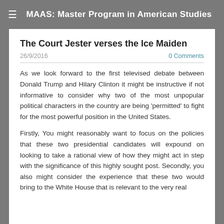MAAS: Master Program in American Studies
The Court Jester verses the Ice Maiden
26/9/2016
0 Comments
As we look forward to the first televised debate between Donald Trump and Hilary Clinton it might be instructive if not informative to consider why two of the most unpopular political characters in the country are being 'permitted' to fight for the most powerful position in the United States.
Firstly, You might reasonably want to focus on the policies that these two presidential candidates will expound on looking to take a rational view of how they might act in step with the significance of this highly sought post. Secondly, you also might consider the experience that these two would bring to the White House that is relevant to the very real